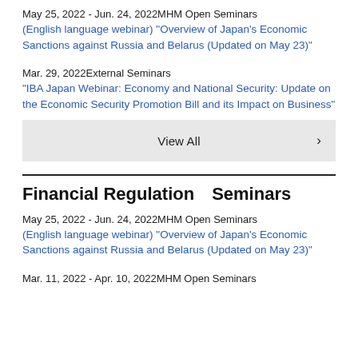May 25, 2022 - Jun. 24, 2022MHM Open Seminars
(English language webinar) "Overview of Japan's Economic Sanctions against Russia and Belarus (Updated on May 23)"
Mar. 29, 2022External Seminars
"IBA Japan Webinar: Economy and National Security: Update on the Economic Security Promotion Bill and its Impact on Business"
View All
Financial Regulation　Seminars
May 25, 2022 - Jun. 24, 2022MHM Open Seminars
(English language webinar) "Overview of Japan's Economic Sanctions against Russia and Belarus (Updated on May 23)"
Mar. 11, 2022 - Apr. 10, 2022MHM Open Seminars